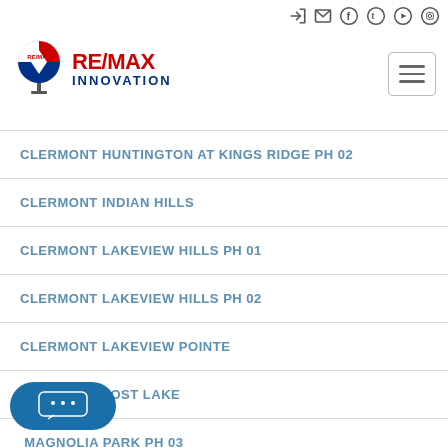[Figure (logo): RE/MAX Innovation logo with balloon icon and social media icons in top bar]
CLERMONT HUNTINGTON AT KINGS RIDGE PH 02
CLERMONT INDIAN HILLS
CLERMONT LAKEVIEW HILLS PH 01
CLERMONT LAKEVIEW HILLS PH 02
CLERMONT LAKEVIEW POINTE
CLERMONT LOST LAKE
CLERMONT MAGNOLIA PARK PH 03
CLERMONT MAGNOLIA PARK PH 1 LT 01 ORB 02